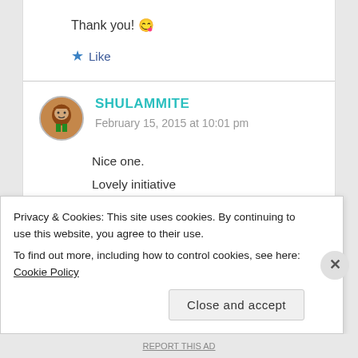Thank you! 😊
★ Like
SHULAMMITE
February 15, 2015 at 10:01 pm
Nice one.
Lovely initiative
Privacy & Cookies: This site uses cookies. By continuing to use this website, you agree to their use.
To find out more, including how to control cookies, see here: Cookie Policy
Close and accept